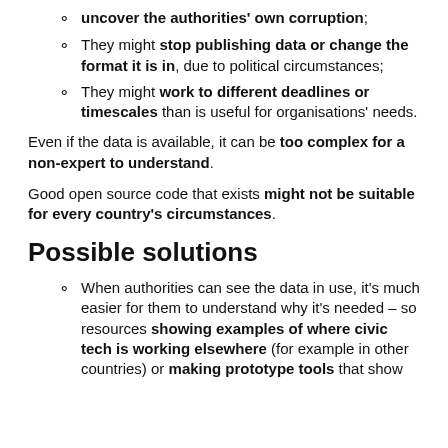uncover the authorities' own corruption;
They might stop publishing data or change the format it is in, due to political circumstances;
They might work to different deadlines or timescales than is useful for organisations' needs.
Even if the data is available, it can be too complex for a non-expert to understand.
Good open source code that exists might not be suitable for every country's circumstances.
Possible solutions
When authorities can see the data in use, it's much easier for them to understand why it's needed – so resources showing examples of where civic tech is working elsewhere (for example in other countries) or making prototype tools that show